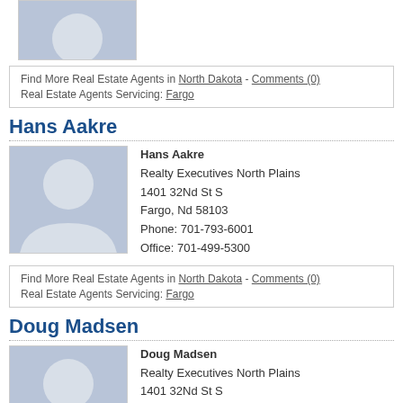[Figure (photo): Cropped placeholder profile photo (top portion only visible)]
Find More Real Estate Agents in North Dakota - Comments (0)
Real Estate Agents Servicing: Fargo
Hans Aakre
[Figure (photo): Placeholder profile silhouette image for Hans Aakre]
Hans Aakre
Realty Executives North Plains
1401 32Nd St S
Fargo, Nd 58103
Phone: 701-793-6001
Office: 701-499-5300
Find More Real Estate Agents in North Dakota - Comments (0)
Real Estate Agents Servicing: Fargo
Doug Madsen
[Figure (photo): Placeholder profile silhouette image for Doug Madsen (partially visible)]
Doug Madsen
Realty Executives North Plains
1401 32Nd St S